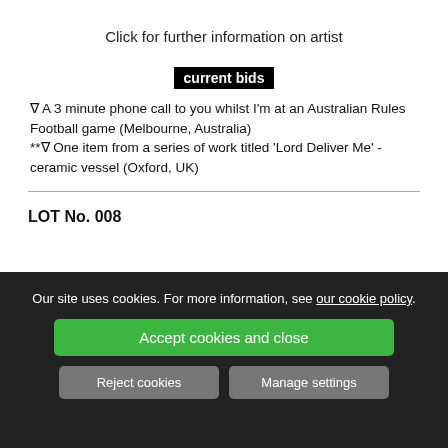Click for further information on artist
current bids
∇ A 3 minute phone call to you whilst I'm at an Australian Rules Football game (Melbourne, Australia)
**∇ One item from a series of work titled 'Lord Deliver Me' - ceramic vessel (Oxford, UK)
LOT No. 008
Our site uses cookies. For more information, see our cookie policy.
Accept cookies and close
Reject cookies
Manage settings